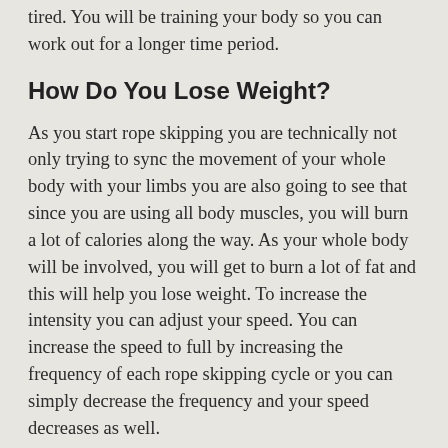tired. You will be training your body so you can work out for a longer time period.
How Do You Lose Weight?
As you start rope skipping you are technically not only trying to sync the movement of your whole body with your limbs you are also going to see that since you are using all body muscles, you will burn a lot of calories along the way. As your whole body will be involved, you will get to burn a lot of fat and this will help you lose weight. To increase the intensity you can adjust your speed. You can increase the speed to full by increasing the frequency of each rope skipping cycle or you can simply decrease the frequency and your speed decreases as well.
Are There Any Side Effects Of Rope